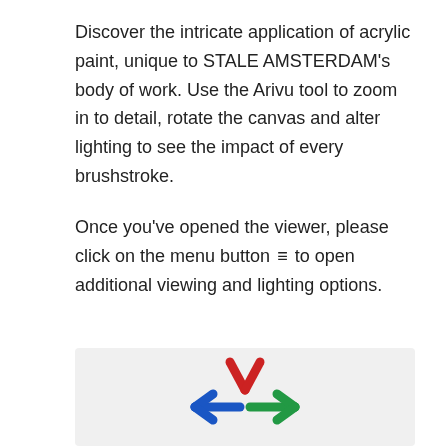Discover the intricate application of acrylic paint, unique to STALE AMSTERDAM's body of work. Use the Arivu tool to zoom in to detail, rotate the canvas and alter lighting to see the impact of every brushstroke.
Once you've opened the viewer, please click on the menu button ≡ to open additional viewing and lighting options.
[Figure (logo): Arivu logo: a snowflake-like symbol with red V-shape on top, blue and green horizontal arrows in the middle, forming a stylized asterisk/cross shape on a light grey background]